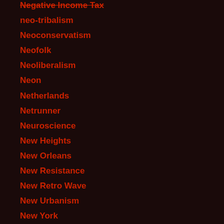Negative Income Tax
neo-tribalism
Neoconservatism
Neofolk
Neoliberalism
Neon
Netherlands
Netrunner
Neuroscience
New Heights
New Orleans
New Resistance
New Retro Wave
New Urbanism
New York